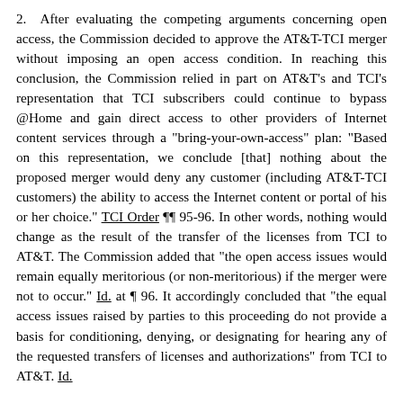2.  After evaluating the competing arguments concerning open access, the Commission decided to approve the AT&T-TCI merger without imposing an open access condition. In reaching this conclusion, the Commission relied in part on AT&T's and TCI's representation that TCI subscribers could continue to bypass @Home and gain direct access to other providers of Internet content services through a "bring-your-own-access" plan: "Based on this representation, we conclude [that] nothing about the proposed merger would deny any customer (including AT&T-TCI customers) the ability to access the Internet content or portal of his or her choice." TCI Order ¶¶ 95-96. In other words, nothing would change as the result of the transfer of the licenses from TCI to AT&T. The Commission added that "the open access issues would remain equally meritorious (or non-meritorious) if the merger were not to occur." Id. at ¶ 96. It accordingly concluded that "the equal access issues raised by parties to this proceeding do not provide a basis for conditioning, denying, or designating for hearing any of the requested transfers of licenses and authorizations" from TCI to AT&T. Id.
The Commission also saw no need to condition the AT&T-TCI merger on mandatory open access because, as it previously found in the Advanced Services Report, "many other firms already are deploying or seeking to deploy high-speed Internet access services to residential customers using other distribution technologies, and